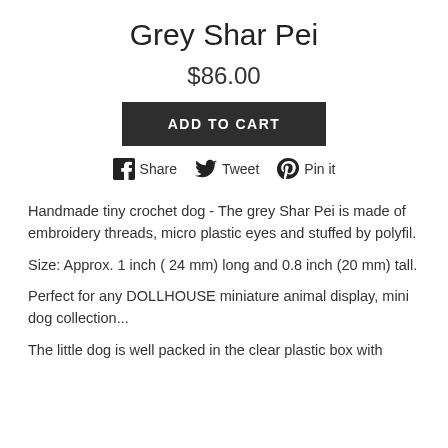Grey Shar Pei
$86.00
ADD TO CART
[Figure (infographic): Social share buttons: Facebook Share, Twitter Tweet, Pinterest Pin it]
Handmade tiny crochet dog - The grey Shar Pei is made of embroidery threads, micro plastic eyes and stuffed by polyfil.
Size: Approx. 1 inch ( 24 mm) long and 0.8 inch (20 mm) tall.
Perfect for any DOLLHOUSE miniature animal display, mini dog collection...
The little dog is well packed in the clear plastic box with